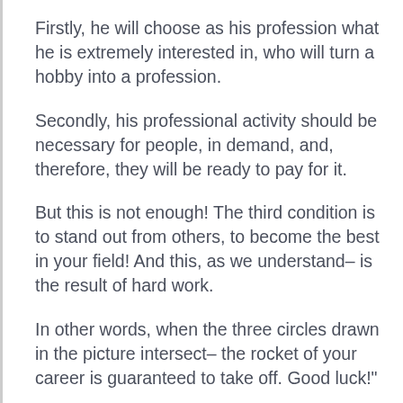Firstly, he will choose as his profession what he is extremely interested in, who will turn a hobby into a profession.
Secondly, his professional activity should be necessary for people, in demand, and, therefore, they will be ready to pay for it.
But this is not enough! The third condition is to stand out from others, to become the best in your field! And this, as we understand– is the result of hard work.
In other words, when the three circles drawn in the picture intersect– the rocket of your career is guaranteed to take off. Good luck!"